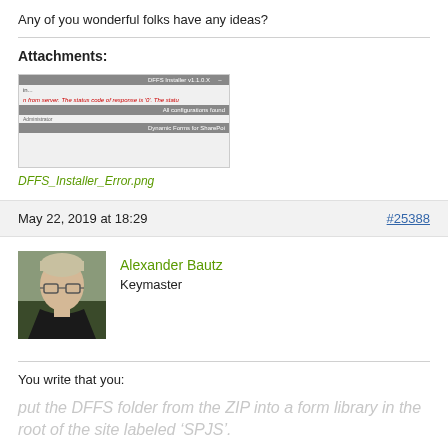Any of you wonderful folks have any ideas?
Attachments:
[Figure (screenshot): Screenshot of DFFS Installer showing error messages in red text and grey header bars]
DFFS_Installer_Error.png
May 22, 2019 at 18:29
#25388
[Figure (photo): Photo of Alexander Bautz, a man with blonde/grey hair and glasses, dark jacket, outdoor background]
Alexander Bautz
Keymaster
You write that you:
put the DFFS folder from the ZIP into a form library in the root of the site labeled ‘SPJS’.